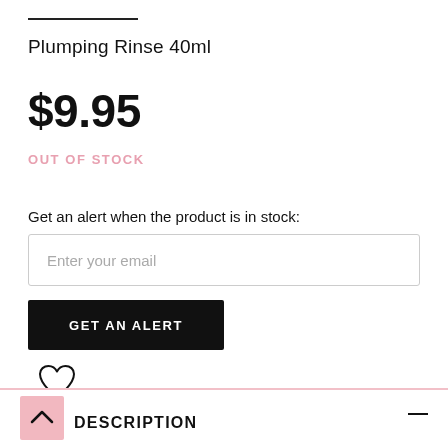Plumping Rinse 40ml
$9.95
OUT OF STOCK
Get an alert when the product is in stock:
Enter your email
GET AN ALERT
[Figure (illustration): Heart/wishlist icon (outline heart shape)]
[Figure (illustration): Back to top arrow button (pink background with upward chevron)]
DESCRIPTION